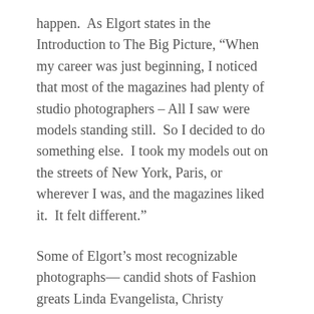happen.  As Elgort states in the Introduction to The Big Picture, “When my career was just beginning, I noticed that most of the magazines had plenty of studio photographers – All I saw were models standing still.  So I decided to do something else.  I took my models out on the streets of New York, Paris, or wherever I was, and the magazines liked it.  It felt different.”
Some of Elgort’s most recognizable photographs— candid shots of Fashion greats Linda Evangelista, Christy Turlington, Naomi Campbell, Kate Moss, and Karlie Kloss— were taken when Elgort was not “working”, moments in between shoots, models getting ready behind the scenes, or unwinding after hours. It is Elgort’s photojournalist style of capturing these spontaneous, authentic moments that make his images so effortless, genuinely reflecting the periods he documented with an